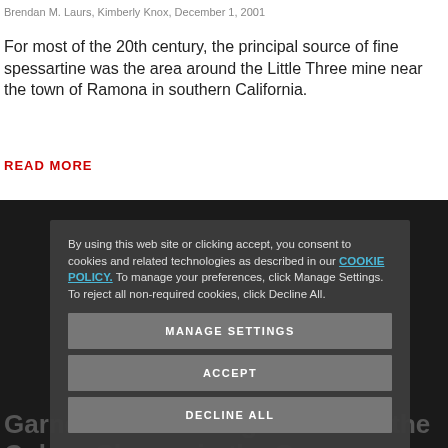Brendan M. Laurs, Kimberly Knox, December 1, 2001
For most of the 20th century, the principal source of fine spessartine was the area around the Little Three mine near the town of Ramona in southern California.
READ MORE
Garnets from Madagascar with the Colour Change in the Green Portion
February 2016
Gemmological, chemical, spectroscopic and microscopic properties of be… from a new deposit near B…
READ MORE
By using this web site or clicking accept, you consent to cookies and related technologies as described in our COOKIE POLICY. To manage your preferences, click Manage Settings. To reject all non-required cookies, click Decline All.
MANAGE SETTINGS
ACCEPT
DECLINE ALL